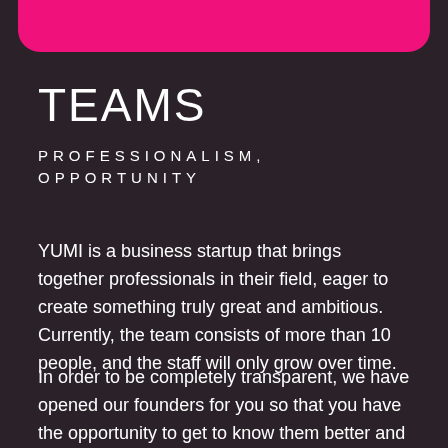[Figure (other): Pink rounded rectangle bar at top of page]
TEAMS
PROFESSIONALISM, OPPORTUNITY
YUMI is a business startup that brings together professionals in their field, eager to create something truly great and ambitious. Currently, the team consists of more than 10 people, and the staff will only grow over time.
In order to be completely transparent, we have opened our founders for you so that you have the opportunity to get to know them better and communicate with them directly. Subscribe to our social